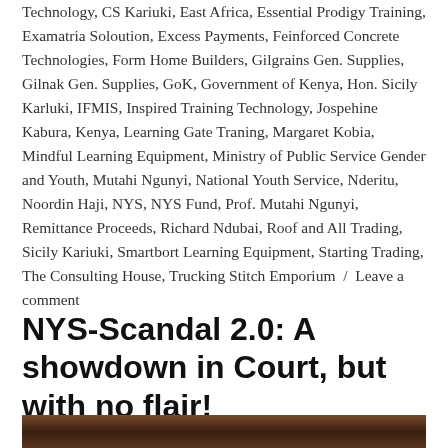Technology, CS Kariuki, East Africa, Essential Prodigy Training, Examatria Soloution, Excess Payments, Feinforced Concrete Technologies, Form Home Builders, Gilgrains Gen. Supplies, Gilnak Gen. Supplies, GoK, Government of Kenya, Hon. Sicily Karluki, IFMIS, Inspired Training Technology, Jospehine Kabura, Kenya, Learning Gate Traning, Margaret Kobia, Mindful Learning Equipment, Ministry of Public Service Gender and Youth, Mutahi Ngunyi, National Youth Service, Nderitu, Noordin Haji, NYS, NYS Fund, Prof. Mutahi Ngunyi, Remittance Proceeds, Richard Ndubai, Roof and All Trading, Sicily Kariuki, Smartbort Learning Equipment, Starting Trading, The Consulting House, Trucking Stitch Emporium / Leave a comment
NYS-Scandal 2.0: A showdown in Court, but with no flair!
[Figure (photo): Partial photo visible at bottom of page, showing people in what appears to be a court or official setting]